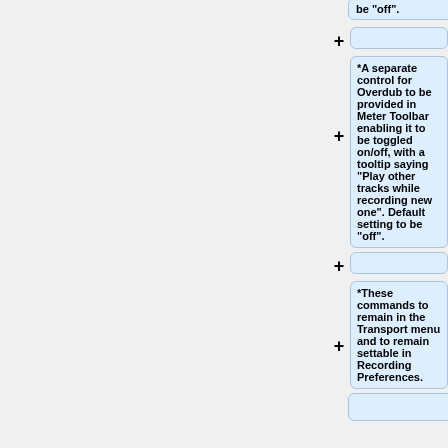be "off".
*A separate control for Overdub to be provided in Meter Toolbar enabling it to be toggled on/off, with a tooltip saying "Play other tracks while recording new one".  Default setting to be "off".
*These commands to remain in the Transport menu and to remain settable in Recording Preferences.